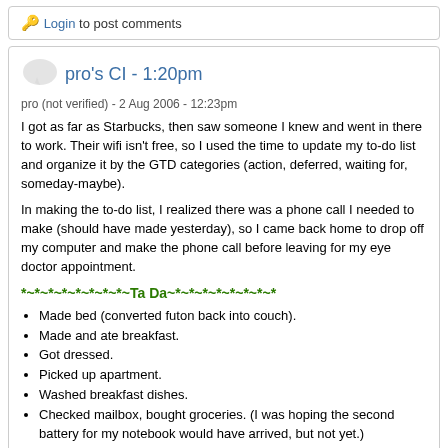🔑 Login  to post comments
pro's CI - 1:20pm
pro (not verified) - 2 Aug 2006 - 12:23pm
I got as far as Starbucks, then saw someone I knew and went in there to work. Their wifi isn't free, so I used the time to update my to-do list and organize it by the GTD categories (action, deferred, waiting for, someday-maybe).
In making the to-do list, I realized there was a phone call I needed to make (should have made yesterday), so I came back home to drop off my computer and make the phone call before leaving for my eye doctor appointment.
*~*~*~*~*~*~*~*~Ta Da~*~*~*~*~*~*~*~*
Made bed (converted futon back into couch).
Made and ate breakfast.
Got dressed.
Picked up apartment.
Washed breakfast dishes.
Checked mailbox, bought groceries. (I was hoping the second battery for my notebook would have arrived, but not yet.)
Took pills.